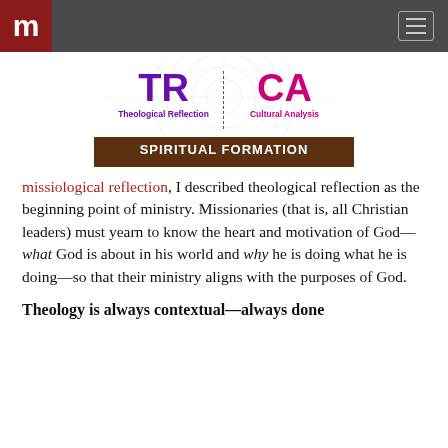m [logo] [hamburger menu]
[Figure (infographic): Diagram showing TR (Theological Reflection) and CA (Cultural Analysis) quadrants with SPIRITUAL FORMATION label at the bottom, on a brown background with concentric circle watermark and dotted crosshair lines.]
missiological reflection, I described theological reflection as the beginning point of ministry. Missionaries (that is, all Christian leaders) must yearn to know the heart and motivation of God— what God is about in his world and why he is doing what he is doing—so that their ministry aligns with the purposes of God.
Theology is always contextual—always done